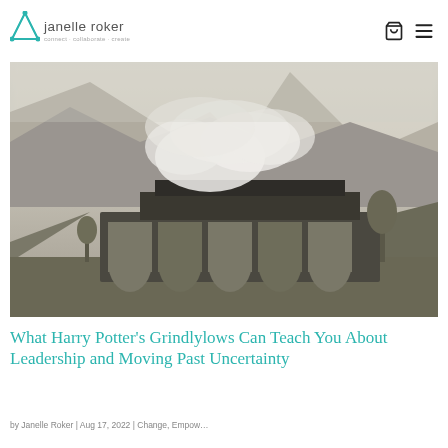janelle roker — connect · collaborate · create
[Figure (photo): Steam locomotive crossing a large stone arched viaduct in a misty mountainous landscape, sepia/grey toned photo]
What Harry Potter's Grindlylows Can Teach You About Leadership and Moving Past Uncertainty
by Janelle Roker | Aug 17, 2022 | Change, Empow...